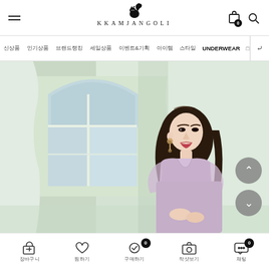KKAMJANGOLI
신상품 | 인기상품 | 브랜드랭킹 | 세일상품 | 이벤트&기획 | 아이템 | 스타일 | UNDERWEAR
[Figure (photo): Korean fashion model wearing a light lavender/purple sheer short-sleeve top, standing in front of arched windows with soft natural lighting. White curtains visible in background.]
장바구니 | 찜하기 | 구매하기 | 착샷보기 | 채팅